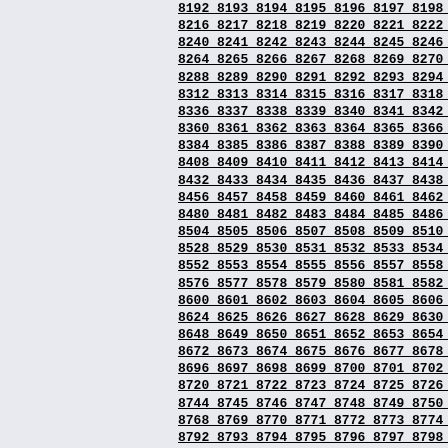Grid of sequential numbers from approximately 8192 to 8946, arranged in rows of 11 numbers each, incrementing by 24 per row (e.g., 8192-8202, 8216-8226, etc.)